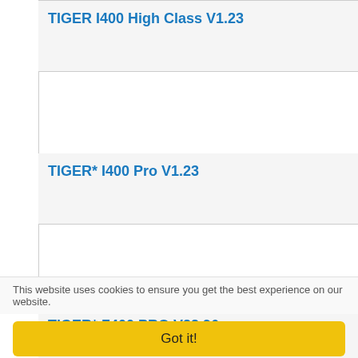TIGER I400 High Class V1.23
TIGER* I400 Pro V1.23
TIGER* Z400 PRO V22.96
100% ANONYMOUS SPORTS & CASINO BETTING
UP TO 250 USDT FOR NEW MEMBERS
This website uses cookies to ensure you get the best experience on our website.
Got it!